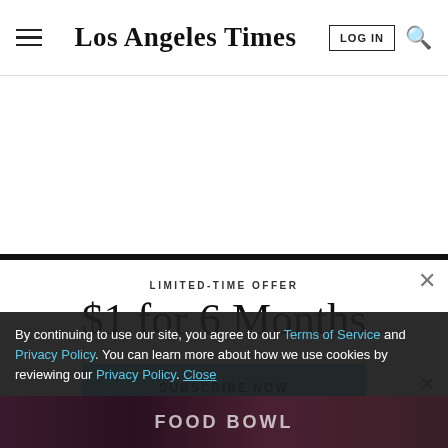Los Angeles Times
LIMITED-TIME OFFER
$1 for 6 Months
SUBSCRIBE NOW
By continuing to use our site, you agree to our Terms of Service and Privacy Policy. You can learn more about how we use cookies by reviewing our Privacy Policy. Close